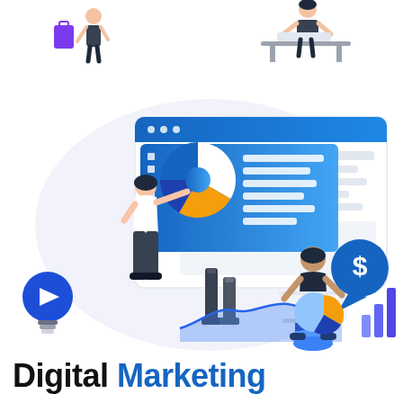[Figure (illustration): Digital marketing illustration: top strip shows two small scenes (person with shopping bags, person at desk). Main scene shows a woman pointing at a dashboard/presentation screen with a pie chart and data bars, a man seated working on a laptop, a blue browser window UI, a lightbulb with a play button icon, a dollar-sign speech bubble, small pie chart, bar chart growth icon, chess pieces, and an area/line graph. Color palette: blues, purple, gold/orange, white, dark grey.]
Digital Marketing